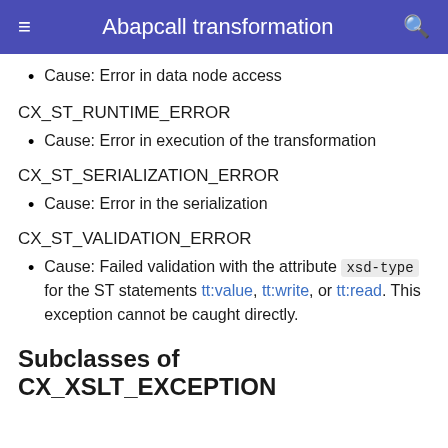Abapcall transformation
Cause: Error in data node access
CX_ST_RUNTIME_ERROR
Cause: Error in execution of the transformation
CX_ST_SERIALIZATION_ERROR
Cause: Error in the serialization
CX_ST_VALIDATION_ERROR
Cause: Failed validation with the attribute xsd-type for the ST statements tt:value, tt:write, or tt:read. This exception cannot be caught directly.
Subclasses of CX_XSLT_EXCEPTION